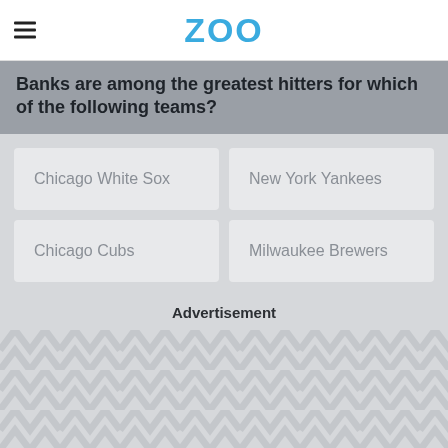ZOO
Banks are among the greatest hitters for which of the following teams?
Chicago White Sox
New York Yankees
Chicago Cubs
Milwaukee Brewers
Advertisement